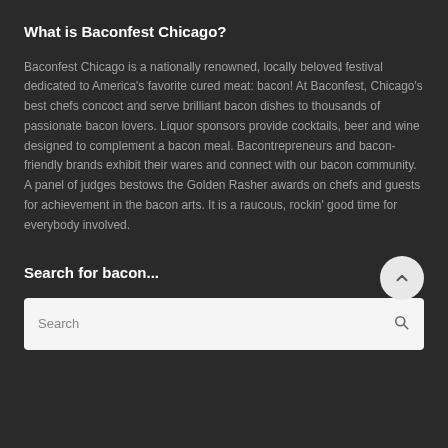What is Baconfest Chicago?
Baconfest Chicago is a nationally renowned, locally beloved festival dedicated to America's favorite cured meat: bacon! At Baconfest, Chicago's best chefs concoct and serve brilliant bacon dishes to thousands of passionate bacon lovers. Liquor sponsors provide cocktails, beer and wine designed to complement a bacon meal. Bacontrepreneurs and bacon-friendly brands exhibit their wares and connect with our bacon community. A panel of judges bestows the Golden Rasher awards on chefs and guests for achievement in the bacon arts. It is a raucous, rockin' good time for everybody involved.
Search for bacon...
Search